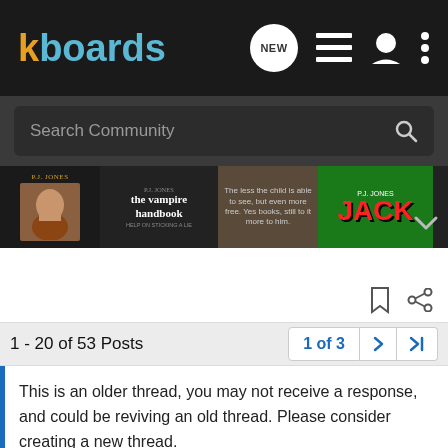[Figure (screenshot): Kboards forum website navigation bar with logo, NEW message icon, list icon, user icon, and vertical dots menu icon on dark background]
[Figure (screenshot): Search Community search bar on dark grey background with magnifying glass icon]
[Figure (screenshot): Banner advertisement showing PJ Jones book covers including 'the vampire handbook' and 'JACK' with a chevron arrow]
1 - 20 of 53 Posts
1 of 3
This is an older thread, you may not receive a response, and could be reviving an old thread. Please consider creating a new thread.